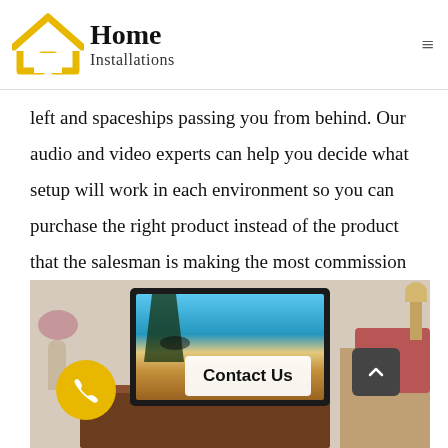Home Installations
left and spaceships passing you from behind. Our audio and video experts can help you decide what setup will work in each environment so you can purchase the right product instead of the product that the salesman is making the most commission on.
[Figure (photo): A living room setup with a flat-screen TV mounted on a wooden media console, displaying a tropical beach scene. There is a plant on the left, a nightstand and pillow on the right. Overlay buttons show 'Contact Us' and a phone icon button and a back-to-top arrow button.]